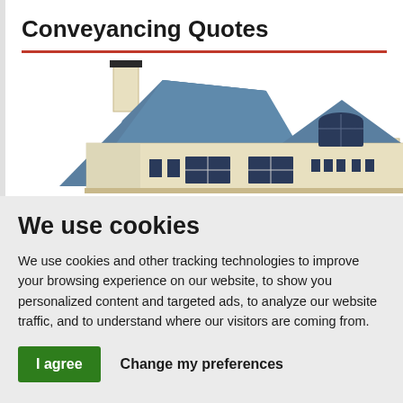Conveyancing Quotes
[Figure (illustration): Illustration of a residential house with blue roof, chimney, windows, and cream-colored walls.]
We use cookies
We use cookies and other tracking technologies to improve your browsing experience on our website, to show you personalized content and targeted ads, to analyze our website traffic, and to understand where our visitors are coming from.
I agree   Change my preferences